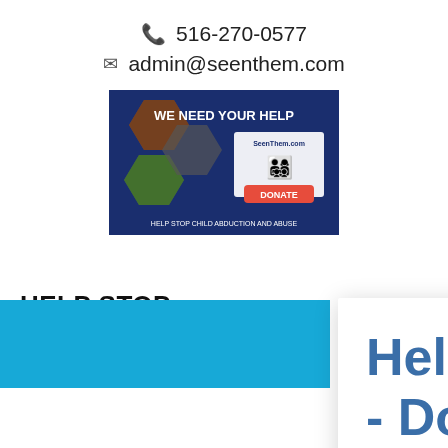516-270-0577
admin@seenthem.com
[Figure (infographic): Blue banner with hexagonal photo collage of children and text 'WE NEED YOUR HELP', SeenThem.com logo with yellow family figures, DONATE button, and text 'HELP STOP CHILD ABDUCTION AND ABUSE']
HELP STOP
Sharin
Se
Help Save Children's Lives - Donate Today